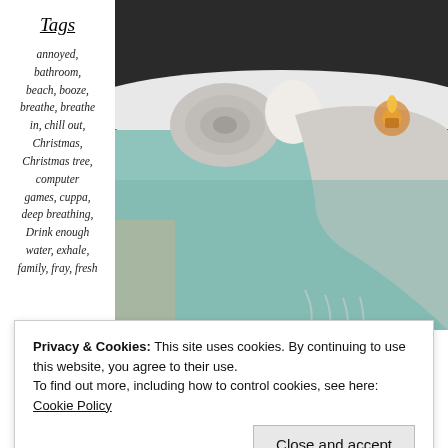Tags
annoyed,
bathroom,
beach, booze,
breathe, breathe in, chill out,
Christmas,
Christmas tree,
computer games, cuppa,
deep breathing,
Drink enough water, exhale,
family, fray, fresh
[Figure (photo): A relaxing bath scene with a rolled towel, a white egg or ball, a cloth/towel draped over the side, a lit candle, and turquoise/teal water in a white bathtub.]
Privacy & Cookies: This site uses cookies. By continuing to use this website, you agree to their use. To find out more, including how to control cookies, see here: Cookie Policy
Close and accept
intense, joy and